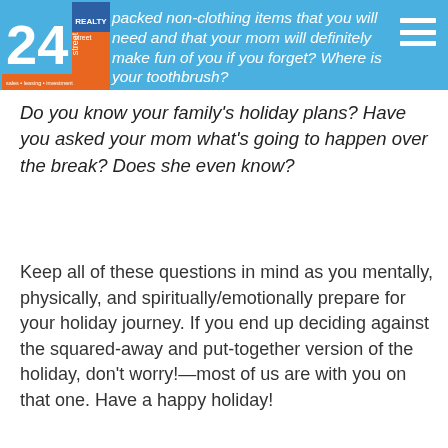packed non-clothing items that you will need and that your mom will definitely make fun of you if you forget? Where is your toothbrush?
Do you know your family’s holiday plans? Have you asked your mom what’s going to happen over the break? Does she even know?
Keep all of these questions in mind as you mentally, physically, and spiritually/emotionally prepare for your holiday journey. If you end up deciding against the squared-away and put-together version of the holiday, don’t worry!—most of us are with you on that one. Have a happy holiday!